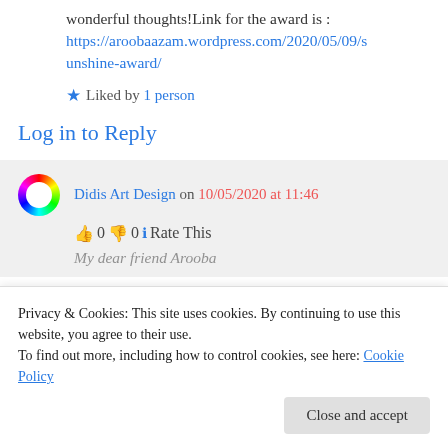wonderful thoughts!Link for the award is :
https://aroobaazam.wordpress.com/2020/05/09/sunshine-award/
★ Liked by 1 person
Log in to Reply
Didis Art Design on 10/05/2020 at 11:46
👍 0 👎 0 ℹ Rate This
My dear friend Arooba
Privacy & Cookies: This site uses cookies. By continuing to use this website, you agree to their use.
To find out more, including how to control cookies, see here: Cookie Policy